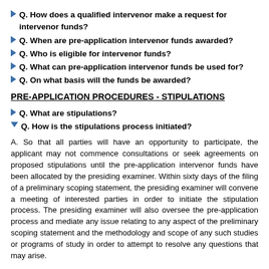Q. How does a qualified intervenor make a request for intervenor funds?
Q. When are pre-application intervenor funds awarded?
Q. Who is eligible for intervenor funds?
Q. What can pre-application intervenor funds be used for?
Q. On what basis will the funds be awarded?
PRE-APPLICATION PROCEDURES - STIPULATIONS
Q. What are stipulations?
Q. How is the stipulations process initiated?
A. So that all parties will have an opportunity to participate, the applicant may not commence consultations or seek agreements on proposed stipulations until the pre-application intervenor funds have been allocated by the presiding examiner. Within sixty days of the filing of a preliminary scoping statement, the presiding examiner will convene a meeting of interested parties in order to initiate the stipulation process. The presiding examiner will also oversee the pre-application process and mediate any issue relating to any aspect of the preliminary scoping statement and the methodology and scope of any such studies or programs of study in order to attempt to resolve any questions that may arise.